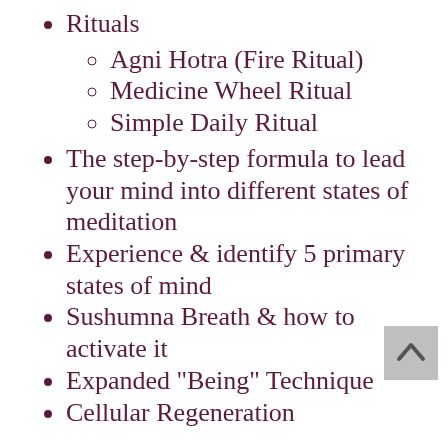Rituals
Agni Hotra (Fire Ritual)
Medicine Wheel Ritual
Simple Daily Ritual
The step-by-step formula to lead your mind into different states of meditation
Experience & identify 5 primary states of mind
Sushumna Breath & how to activate it
Expanded "Being" Technique
Cellular Regeneration